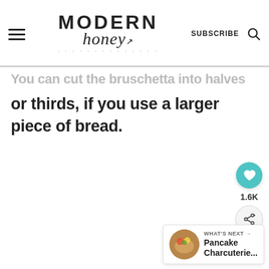MODERN honey — SUBSCRIBE
You can cut the bruschetta into halves or thirds, if you use a larger piece of bread.
[Figure (screenshot): Social share widget with heart icon showing 1.6K saves and a share button]
[Figure (screenshot): What's Next widget showing Pancake Charcuterie... with thumbnail image]